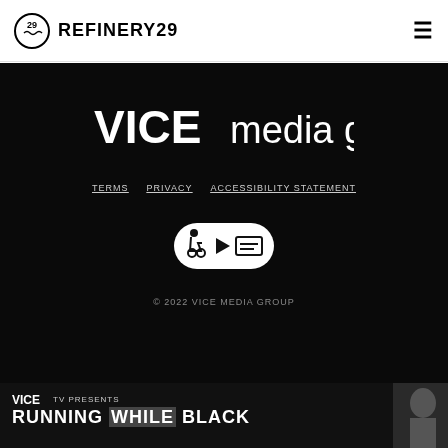REFINERY29
VICE media group
TERMS   PRIVACY   ACCESSIBILITY STATEMENT
[Figure (logo): Accessibility and closed captioning badge icons]
© 2022 VICE MEDIA GROUP
[Figure (screenshot): VICE TV PRESENTS RUNNING WHILE BLACK banner advertisement with a person's face on the right side]